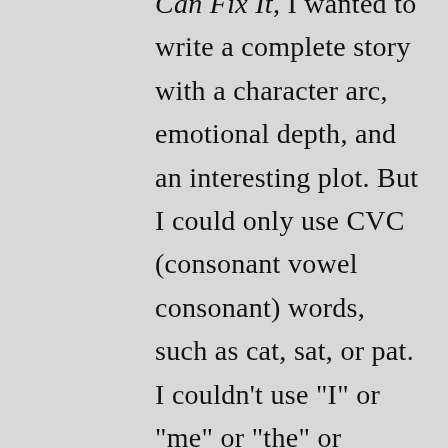Can Fix It, I wanted to write a complete story with a character arc, emotional depth, and an interesting plot. But I could only use CVC (consonant vowel consonant) words, such as cat, sat, or pat. I couldn’t use “I” or “me” or “the” or “said,” because young children can’t sound